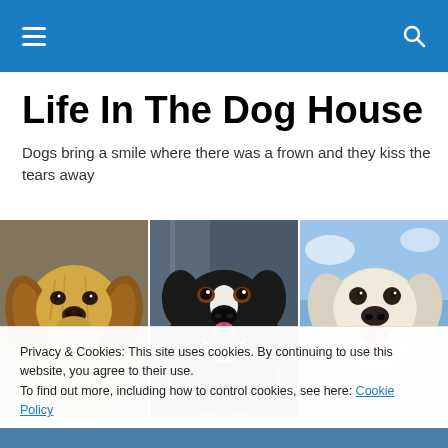Navigation bar with hamburger menu and search icon
Life In The Dog House
Dogs bring a smile where there was a frown and they kiss the tears away
[Figure (photo): Three artistic/illustrated dog portraits side by side: a Cavalier King Charles Spaniel, a Bernese Mountain Dog, and a Golden Retriever]
Privacy & Cookies: This site uses cookies. By continuing to use this website, you agree to their use.
To find out more, including how to control cookies, see here: Cookie Policy
Close and accept